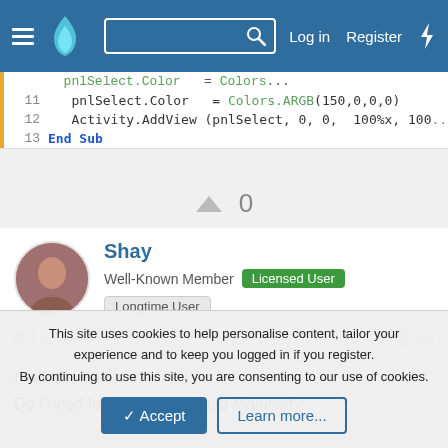Log in  Register
[Figure (screenshot): Code block showing lines 11-13 of Basic4Android code: pnlSelect.Color = Colors.ARGB(150,0,0,0), Activity.AddView(pnlSelect, 0, 0, 100%x, 100%), End Sub]
0
Shay
Well-Known Member  Licensed User  Longtime User
Oct 22, 2014  #5
I will test later...
Do I need to add something to Mainfest?
This site uses cookies to help personalise content, tailor your experience and to keep you logged in if you register.
By continuing to use this site, you are consenting to our use of cookies.